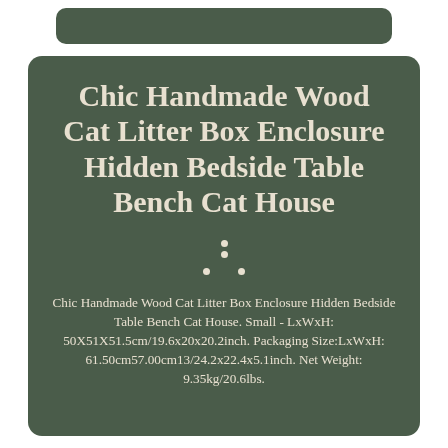Chic Handmade Wood Cat Litter Box Enclosure Hidden Bedside Table Bench Cat House
Chic Handmade Wood Cat Litter Box Enclosure Hidden Bedside Table Bench Cat House. Small - LxWxH: 50X51X51.5cm/19.6x20x20.2inch. Packaging Size:LxWxH: 61.50cm57.00cm13/24.2x22.4x5.1inch. Net Weight: 9.35kg/20.6lbs.